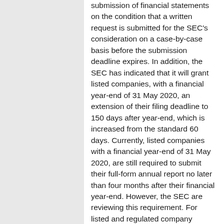submission of financial statements on the condition that a written request is submitted for the SEC's consideration on a case-by-case basis before the submission deadline expires. In addition, the SEC has indicated that it will grant listed companies, with a financial year-end of 31 May 2020, an extension of their filing deadline to 150 days after year-end, which is increased from the standard 60 days. Currently, listed companies with a financial year-end of 31 May 2020, are still required to submit their full-form annual report no later than four months after their financial year-end. However, the SEC are reviewing this requirement. For listed and regulated company quarterly reporting for the period ending 31 March 2020, no additional guidance has yet been